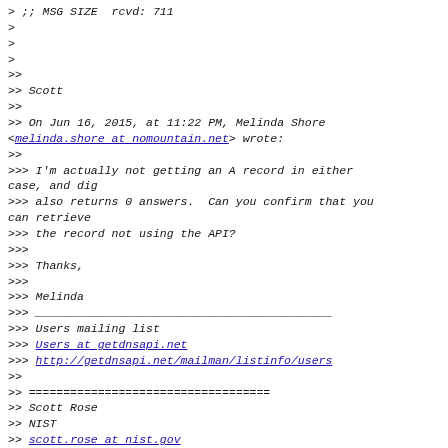> ;; MSG SIZE  rcvd: 711
>
>
>
>>
>> Scott
>>
>> On Jun 16, 2015, at 11:22 PM, Melinda Shore <melinda.shore at nomountain.net> wrote:
>>
>>> I'm actually not getting an A record in either case, and dig
>>> also returns 0 answers.  Can you confirm that you can retrieve
>>> the record not using the API?
>>>
>>> Thanks,
>>>
>>> Melinda
>>> ___________________________________________
>>> Users mailing list
>>> Users at getdnsapi.net
>>> http://getdnsapi.net/mailman/listinfo/users
>>
>> ===================================
>> Scott Rose
>> NIST
>> scott.rose at nist.gov
>> +1 301-975-8439
>> Google Voice: +1 571-249-3671